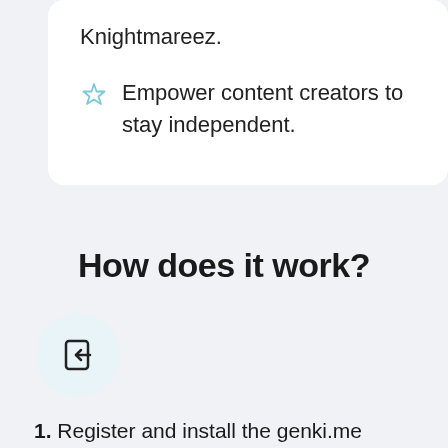Knightmareez.
Empower content creators to stay independent.
How does it work?
[Figure (illustration): Light blue circle with a login/enter door icon (square with arrow pointing inward from left)]
1. Register and install the genki.me plugin using the form below.